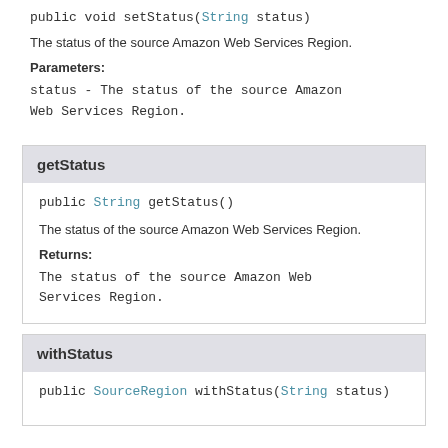public void setStatus(String status)
The status of the source Amazon Web Services Region.
Parameters:
status - The status of the source Amazon Web Services Region.
getStatus
public String getStatus()
The status of the source Amazon Web Services Region.
Returns:
The status of the source Amazon Web Services Region.
withStatus
public SourceRegion withStatus(String status)